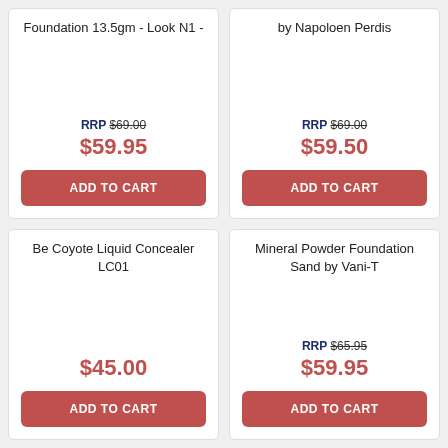Foundation 13.5gm - Look N1 -
RRP $69.00 $59.95
ADD TO CART
by Napoloen Perdis
RRP $69.00 $59.50
ADD TO CART
Be Coyote Liquid Concealer LC01
$45.00
ADD TO CART
Mineral Powder Foundation Sand by Vani-T
RRP $65.95 $59.95
ADD TO CART